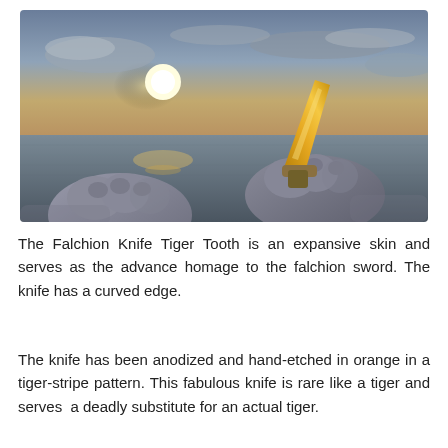[Figure (photo): First-person view screenshot from a video game showing two gloved hands holding a gold/orange tiger-tooth falchion knife. The background is a dramatic sunset over a flat reflective surface (likely water or a salt flat) with dramatic clouds and sun rays.]
The Falchion Knife Tiger Tooth is an expansive skin and serves as the advance homage to the falchion sword. The knife has a curved edge.
The knife has been anodized and hand-etched in orange in a tiger-stripe pattern. This fabulous knife is rare like a tiger and serves a deadly substitute for an actual tiger.